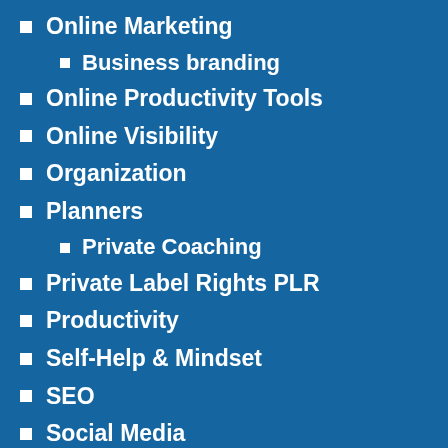Online Marketing
Business branding
Online Productivity Tools
Online Visibility
Organization
Planners
Private Coaching
Private Label Rights PLR
Productivity
Self-Help & Mindset
SEO
Social Media
Facebook
Instagram
LinkedIn
Social Media Communications
Time Management
Training & Coaching Programs